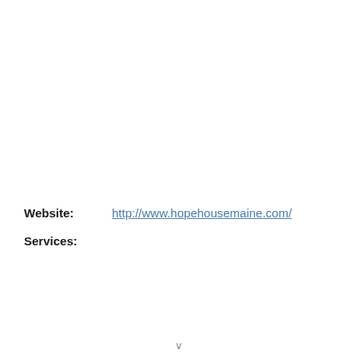Website:    http://www.hopehousemaine.com/
Services: